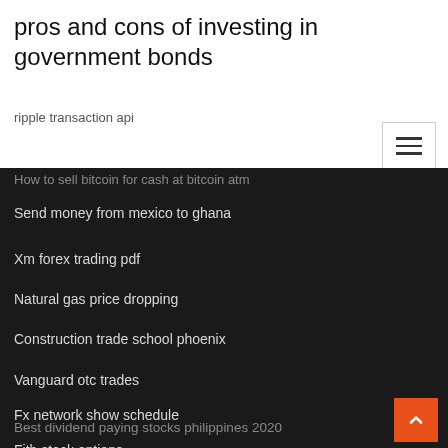pros and cons of investing in government bonds
ripple transaction api
How to sell bitcoin for cash at bitcoin atm
Send money from mexico to ghana
Xm forex trading pdf
Natural gas price dropping
Construction trade school phoenix
Vanguard otc trades
Fx network show schedule
Fitb stock options
Best dividend paying stocks philippines 2020